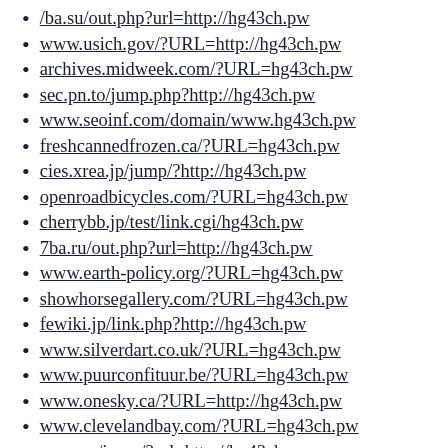/ba.su/out.php?url=http://hg43ch.pw
www.usich.gov/?URL=http://hg43ch.pw
archives.midweek.com/?URL=hg43ch.pw
sec.pn.to/jump.php?http://hg43ch.pw
www.seoinf.com/domain/www.hg43ch.pw
freshcannedfrozen.ca/?URL=hg43ch.pw
cies.xrea.jp/jump/?http://hg43ch.pw
openroadbicycles.com/?URL=hg43ch.pw
cherrybb.jp/test/link.cgi/hg43ch.pw
7ba.ru/out.php?url=http://hg43ch.pw
www.earth-policy.org/?URL=hg43ch.pw
showhorsegallery.com/?URL=hg43ch.pw
fewiki.jp/link.php?http://hg43ch.pw
www.silverdart.co.uk/?URL=hg43ch.pw
www.puurconfituur.be/?URL=hg43ch.pw
www.onesky.ca/?URL=http://hg43ch.pw
www.clevelandbay.com/?URL=hg43ch.pw
pr-cy.ru/jump/?url=http://hg43ch.pw
google.co.bw/url?q=http://hg43ch.pw